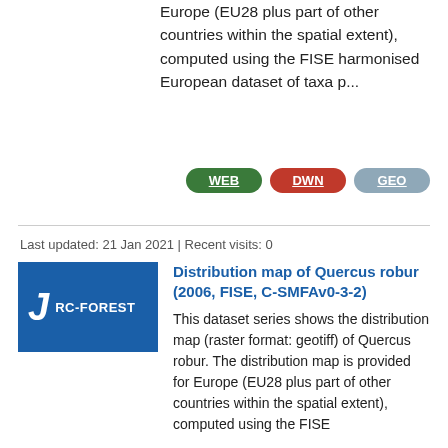Europe (EU28 plus part of other countries within the spatial extent), computed using the FISE harmonised European dataset of taxa p...
[Figure (infographic): Three badge buttons: WEB (green), DWN (red), GEO (gray-blue)]
Last updated: 21 Jan 2021 | Recent visits: 0
[Figure (logo): Blue rectangle icon with italic J and RC-FOREST label]
Distribution map of Quercus robur (2006, FISE, C-SMFAv0-3-2)
This dataset series shows the distribution map (raster format: geotiff) of Quercus robur. The distribution map is provided for Europe (EU28 plus part of other countries within the spatial extent), computed using the FISE